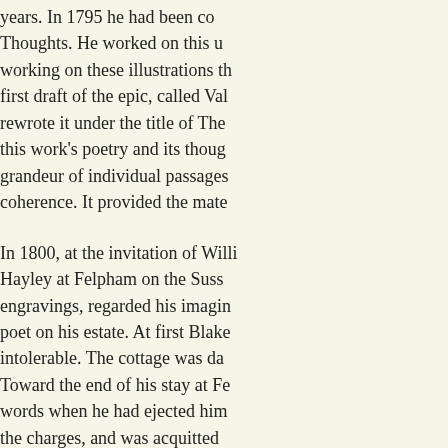years. In 1795 he had been co... Thoughts. He worked on this u... working on these illustrations t... first draft of the epic, called Val... rewrote it under the title of The... this work's poetry and its thou... grandeur of individual passages... coherence. It provided the mate...

In 1800, at the invitation of Willi... Hayley at Felpham on the Suss... engravings, regarded his imagi... poet on his estate. At first Blake... intolerable. The cottage was da... Toward the end of his stay at F... words when he had ejected him... the charges, and was acquitted... became part of the mythology u...

It was also probably at Felphan... Innocence," with its memorable... To see a World in a Grain of Sa... And a Heaven in a Wild Flower... Hold Infinity in the palm of you...